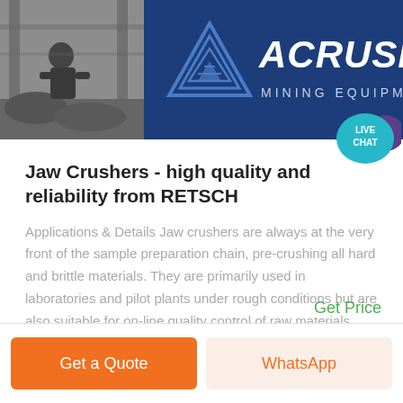[Figure (logo): ACRUSHER Mining Equipment banner with photo of worker on left and blue logo panel on right featuring triangle logo mark and bold italic ACRUSHER text with MINING EQUIPMENT subtitle]
[Figure (infographic): Live Chat speech bubble icon in teal/purple colors positioned top right]
Jaw Crushers - high quality and reliability from RETSCH
Applications & Details Jaw crushers are always at the very front of the sample preparation chain, pre-crushing all hard and brittle materials. They are primarily used in laboratories and pilot plants under rough conditions but are also suitable for on-line quality control of raw materials.
Get Price
Get a Quote
WhatsApp